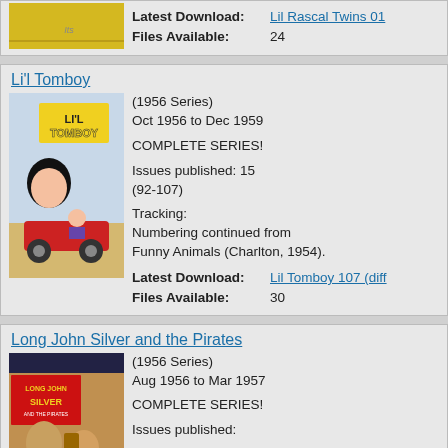[Figure (illustration): Partial comic book cover visible at top (yellow/gold colored)]
Latest Download: Lil Rascal Twins 01
Files Available: 24
Li'l Tomboy
[Figure (illustration): Li'l Tomboy comic book cover showing cartoon character in old car]
(1956 Series)
Oct 1956 to Dec 1959

COMPLETE SERIES!

Issues published: 15
(92-107)

Tracking:
Numbering continued from Funny Animals (Charlton, 1954).

Latest Download: Lil Tomboy 107 (diff
Files Available: 30
Long John Silver and the Pirates
[Figure (illustration): Long John Silver and the Pirates comic book cover]
(1956 Series)
Aug 1956 to Mar 1957

COMPLETE SERIES!

Issues published: